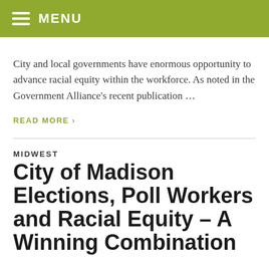MENU
City and local governments have enormous opportunity to advance racial equity within the workforce. As noted in the Government Alliance's recent publication …
READ MORE ›
MIDWEST
City of Madison Elections, Poll Workers and Racial Equity – A Winning Combination